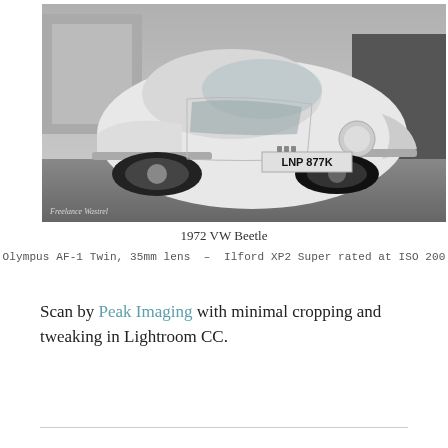[Figure (photo): Black and white photograph of a 1972 VW Beetle with license plate LNP 877K, parked in a car park. Watermark 'Freelance Wastrel' in the lower left corner.]
1972 VW Beetle
Olympus AF-1 Twin, 35mm lens – Ilford XP2 Super rated at ISO 200
Scan by Peak Imaging with minimal cropping and tweaking in Lightroom CC.